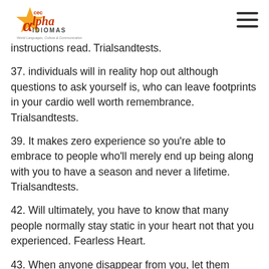CEC Alpha Idiomas — World Languages, Culture & Communication
instructions read. Trialsandtests.
37. individuals will in reality hop out although questions to ask yourself is, who can leave footprints in your cardio well worth remembrance. Trialsandtests.
39. It makes zero experience so you're able to embrace to people who'll merely end up being along with you to have a season and never a lifetime. Trialsandtests.
42. Will ultimately, you have to know that many people normally stay static in your heart not that you experienced. Fearless Heart.
43. When anyone disappear from you, let them wade. Your future isn't really linked with whoever…